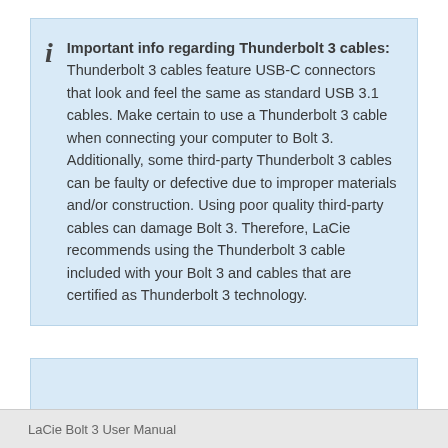Important info regarding Thunderbolt 3 cables: Thunderbolt 3 cables feature USB-C connectors that look and feel the same as standard USB 3.1 cables. Make certain to use a Thunderbolt 3 cable when connecting your computer to Bolt 3. Additionally, some third-party Thunderbolt 3 cables can be faulty or defective due to improper materials and/or construction. Using poor quality third-party cables can damage Bolt 3. Therefore, LaCie recommends using the Thunderbolt 3 cable included with your Bolt 3 and cables that are certified as Thunderbolt 3 technology.
[Figure (other): Empty light blue box below the info note]
LaCie Bolt 3 User Manual